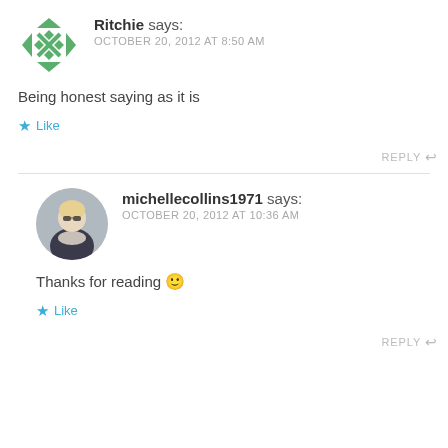Ritchie says: OCTOBER 20, 2012 AT 8:50 AM
Being honest saying as it is
Like
REPLY
michellecollins1971 says: OCTOBER 20, 2012 AT 10:36 AM
Thanks for reading 🙂
Like
REPLY